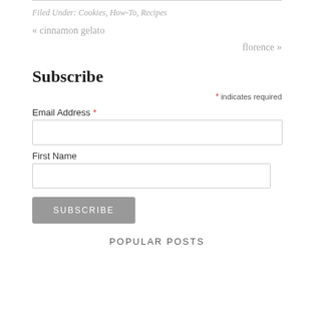Filed Under: Cookies, How-To, Recipes
« cinnamon gelato
florence »
Subscribe
* indicates required
Email Address *
First Name
SUBSCRIBE
POPULAR POSTS